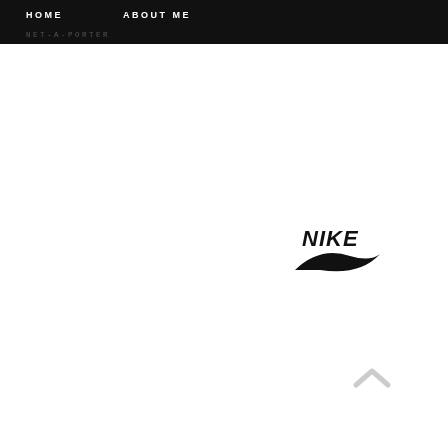HOME    ABOUT ME
NET-A-PORTER
[Figure (logo): Nike logo with swoosh and italic NIKE wordmark in black]
[Figure (other): Light gray upward-pointing chevron/caret scroll-to-top button]